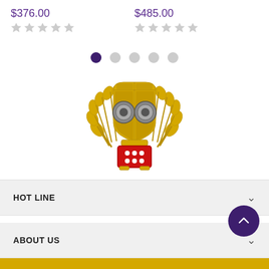$376.00
$485.00
[Figure (other): Carousel pagination dots: 5 dots, first one active (dark purple), rest light grey]
[Figure (logo): Gold emblem/crest logo with two police-style shields, laurel wreath, and red dice/domino base piece]
HOT LINE
ABOUT US